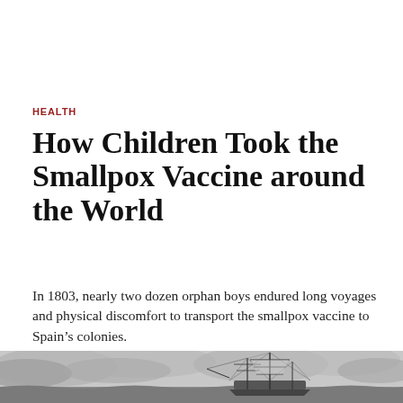HEALTH
How Children Took the Smallpox Vaccine around the World
In 1803, nearly two dozen orphan boys endured long voyages and physical discomfort to transport the smallpox vaccine to Spain’s colonies.
[Figure (illustration): Black and white pencil or engraving illustration of a tall sailing ship with multiple masts and rigging, set against a cloudy sky with rough seas.]